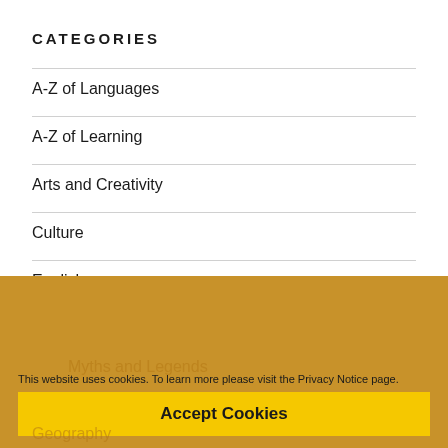CATEGORIES
A-Z of Languages
A-Z of Learning
Arts and Creativity
Culture
English
Book Reviews
Myths and Legends
Poetry for KS3
Geography
This website uses cookies. To learn more please visit the Privacy Notice page.
Accept Cookies